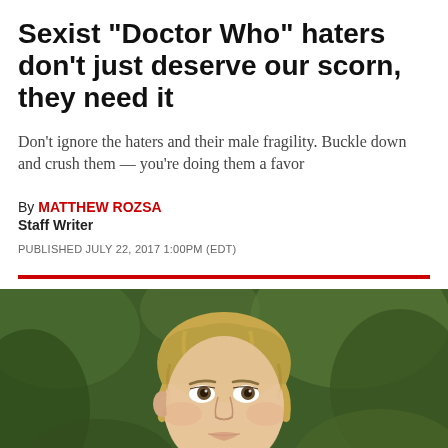Sexist "Doctor Who" haters don't just deserve our scorn, they need it
Don't ignore the haters and their male fragility. Buckle down and crush them — you're doing them a favor
By MATTHEW ROZSA
Staff Writer
PUBLISHED JULY 22, 2017 1:00PM (EDT)
[Figure (photo): Portrait photo of a blonde woman looking slightly upward, wearing a dark jacket, with a blurred green outdoor background]